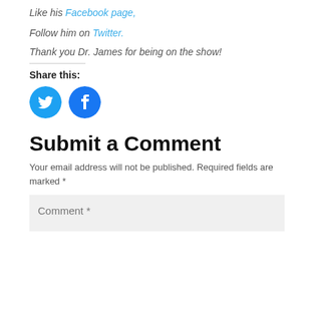Like his Facebook page,
Follow him on Twitter.
Thank you Dr. James for being on the show!
Share this:
[Figure (illustration): Two circular social media icons: Twitter (blue bird) and Facebook (blue f)]
Submit a Comment
Your email address will not be published. Required fields are marked *
Comment *